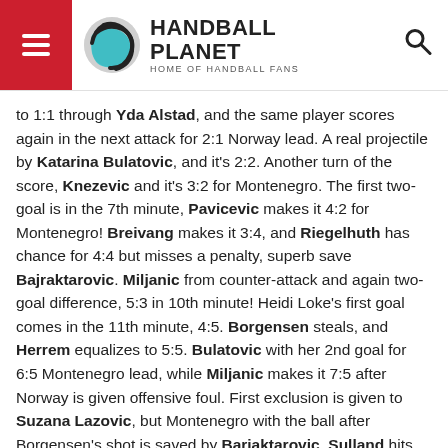HANDBALL PLANET — HOME OF HANDBALL FANS
to 1:1 through Yda Alstad, and the same player scores again in the next attack for 2:1 Norway lead. A real projectile by Katarina Bulatovic, and it's 2:2. Another turn of the score, Knezevic and it's 3:2 for Montenegro. The first two-goal is in the 7th minute, Pavicevic makes it 4:2 for Montenegro! Breivang makes it 3:4, and Riegelhuth has chance for 4:4 but misses a penalty, superb save Bajraktarovic. Miljanic from counter-attack and again two-goal difference, 5:3 in 10th minute! Heidi Loke's first goal comes in the 11th minute, 4:5. Borgensen steals, and Herrem equalizes to 5:5. Bulatovic with her 2nd goal for 6:5 Montenegro lead, while Miljanic makes it 7:5 after Norway is given offensive foul. First exclusion is given to Suzana Lazovic, but Montenegro with the ball after Borgensen's shot is saved by Barjaktarovic. Sulland hits the post, but in the next attack